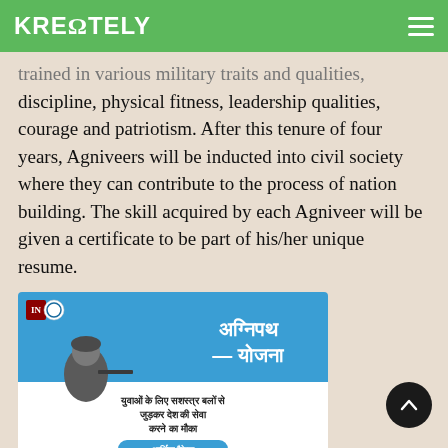KREONTELY
trained in various military traits and qualities, discipline, physical fitness, leadership qualities, courage and patriotism. After this tenure of four years, Agniveers will be inducted into civil society where they can contribute to the process of nation building. The skill acquired by each Agniveer will be given a certificate to be part of his/her unique resume.
[Figure (infographic): Agnipath Yojana promotional infographic with soldier image, Hindi text reading 'Agnipath Yojana', subtext 'yuvaon ke liye sashastra balon se judkar desh ki seva karne ka mouka', blue button 'aarthik package', and partial text 'mulya shatipurti']